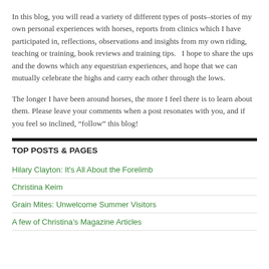In this blog, you will read a variety of different types of posts–stories of my own personal experiences with horses, reports from clinics which I have participated in, reflections, observations and insights from my own riding, teaching or training, book reviews and training tips.   I hope to share the ups and the downs which any equestrian experiences, and hope that we can mutually celebrate the highs and carry each other through the lows.
The longer I have been around horses, the more I feel there is to learn about them. Please leave your comments when a post resonates with you, and if you feel so inclined, “follow” this blog!
TOP POSTS & PAGES
Hilary Clayton: It's All About the Forelimb
Christina Keim
Grain Mites: Unwelcome Summer Visitors
A few of Christina’s Magazine Articles